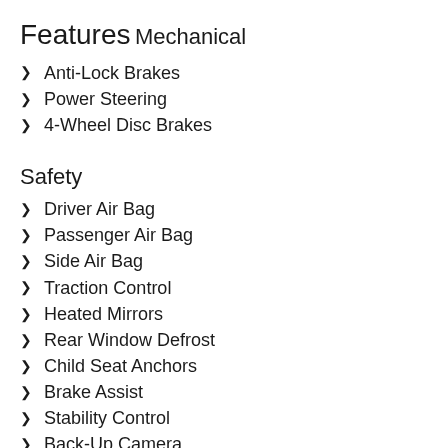Features
Mechanical
Anti-Lock Brakes
Power Steering
4-Wheel Disc Brakes
Safety
Driver Air Bag
Passenger Air Bag
Side Air Bag
Traction Control
Heated Mirrors
Rear Window Defrost
Child Seat Anchors
Brake Assist
Stability Control
Back-Up Camera